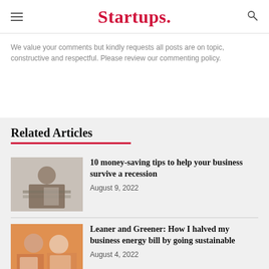Startups.
We value your comments but kindly requests all posts are on topic, constructive and respectful. Please review our commenting policy.
Related Articles
[Figure (photo): Person writing at a desk in a restaurant or kitchen setting, black and white tones]
10 money-saving tips to help your business survive a recession
August 9, 2022
[Figure (photo): Two people in aprons smiling in a colorful shop setting]
Leaner and Greener: How I halved my business energy bill by going sustainable
August 4, 2022